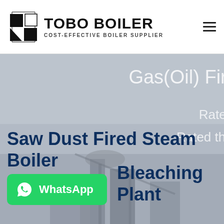[Figure (logo): TOBO BOILER logo with geometric black icon and text 'TOBO BOILER - COST-EFFECTIVE BOILER SUPPLIER']
[Figure (photo): Hero banner showing industrial boiler equipment with partially visible text 'Gas(Oil) Fired', 'Rated th...', 'Rated therm...' overlaid in white on grey background]
Saw Dust Fired Steam Boiler Bleaching Plant
[Figure (other): WhatsApp contact button in green with phone icon and text 'WhatsApp']